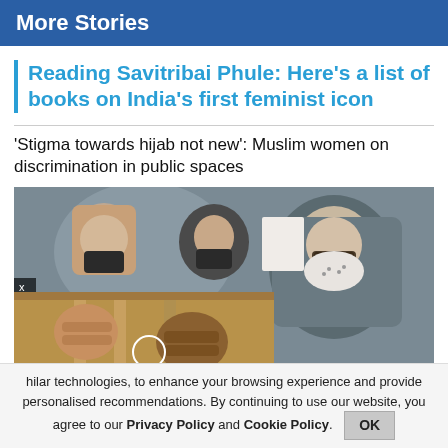More Stories
Reading Savitribai Phule: Here's a list of books on India's first feminist icon
'Stigma towards hijab not new': Muslim women on discrimination in public spaces
[Figure (photo): Two overlapping photos: left shows hands gripping bars (prison bars), right shows Muslim women in hijabs wearing face masks at a protest, holding papers]
hilar technologies, to enhance your browsing experience and provide personalised recommendations. By continuing to use our website, you agree to our Privacy Policy and Cookie Policy.